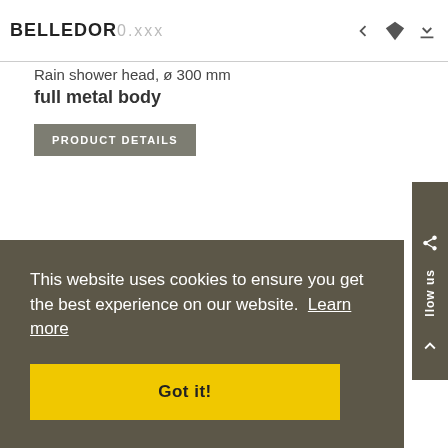BELLEDOR 0.xxx
Rain shower head, ø 300 mm
full metal body
PRODUCT DETAILS
[Figure (photo): Circular chrome rain shower head, partially visible at top, metallic finish]
Follow us
This website uses cookies to ensure you get the best experience on our website. Learn more
Got it!